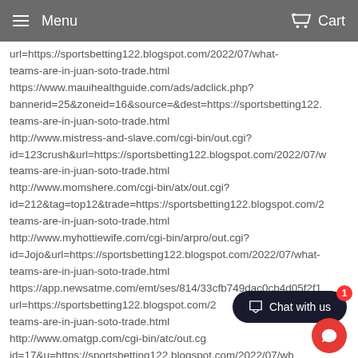Menu  Cart
url=https://sportsbetting122.blogspot.com/2022/07/what-teams-are-in-juan-soto-trade.html https://www.mauihealthguide.com/ads/adclick.php?bannerid=25&zoneid=16&source=&dest=https://sportsbetting122.teams-are-in-juan-soto-trade.html http://www.mistress-and-slave.com/cgi-bin/out.cgi?id=123crush&url=https://sportsbetting122.blogspot.com/2022/07/what-teams-are-in-juan-soto-trade.html http://www.momshere.com/cgi-bin/atx/out.cgi?id=212&tag=top12&trade=https://sportsbetting122.blogspot.com/2022/07/what-teams-are-in-juan-soto-trade.html http://www.myhottiewife.com/cgi-bin/arpro/out.cgi?id=Jojo&url=https://sportsbetting122.blogspot.com/2022/07/what-teams-are-in-juan-soto-trade.html https://app.newsatme.com/emt/ses/814/33cfb749dac0cb4d05f2f1/url=https://sportsbetting122.blogspot.com/2022/07/what-teams-are-in-juan-soto-trade.html http://www.omatgp.com/cgi-bin/atc/out.cgi?id=17&u=https://sportsbetting122.blogspot.com/2022/07/what-teams-are-in-juan-soto-trade.html